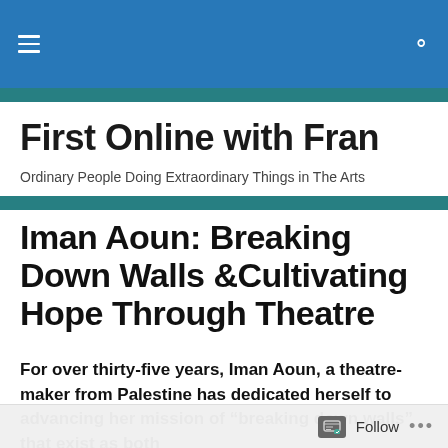First Online with Fran
First Online with Fran
Ordinary People Doing Extraordinary Things in The Arts
Iman Aoun: Breaking Down Walls &Cultivating Hope Through Theatre
For over thirty-five years, Iman Aoun, a theatre-maker from Palestine has dedicated herself to advancing her mission of “breaking down walls” that exist as both